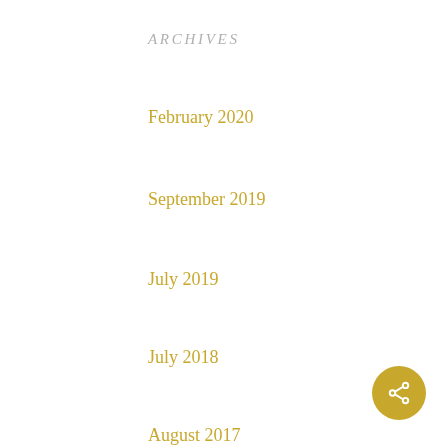ARCHIVES
February 2020
September 2019
July 2019
July 2018
August 2017
July 2017
June 2017
CATEGORIES
Photography tips
Photography Tours